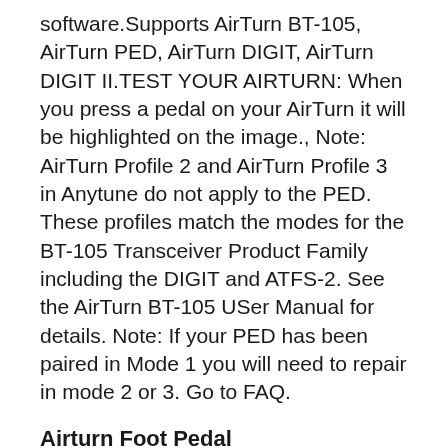software.Supports AirTurn BT-105, AirTurn PED, AirTurn DIGIT, AirTurn DIGIT II.TEST YOUR AIRTURN: When you press a pedal on your AirTurn it will be highlighted on the image., Note: AirTurn Profile 2 and AirTurn Profile 3 in Anytune do not apply to the PED. These profiles match the modes for the BT-105 Transceiver Product Family including the DIGIT and ATFS-2. See the AirTurn BT-105 USer Manual for details. Note: If your PED has been paired in Mode 1 you will need to repair in mode 2 or 3. Go to FAQ.
Airturn Foot Pedal EasyWorship